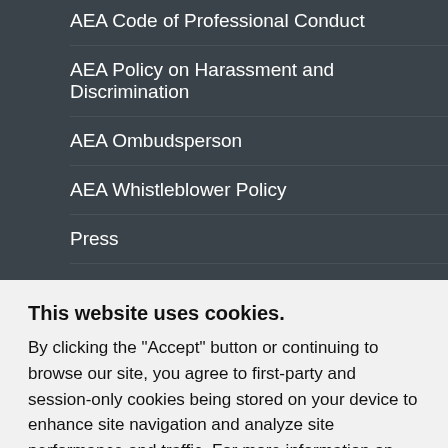AEA Code of Professional Conduct
AEA Policy on Harassment and Discrimination
AEA Ombudsperson
AEA Whistleblower Policy
Press
Advertise
This website uses cookies.
By clicking the "Accept" button or continuing to browse our site, you agree to first-party and session-only cookies being stored on your device to enhance site navigation and analyze site performance and traffic. For more information on our use of cookies, please see our Privacy Policy.
Accept